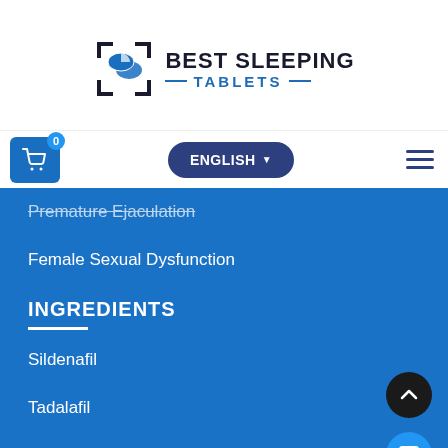[Figure (logo): Best Sleeping Tablets logo with pill icon and brand name]
Cart: 0  ENGLISH  Menu
Premature Ejaculation
Female Sexual Dysfunction
INGREDIENTS
Sildenafil
Tadalafil
Dapoxetine
CONTACT INFO